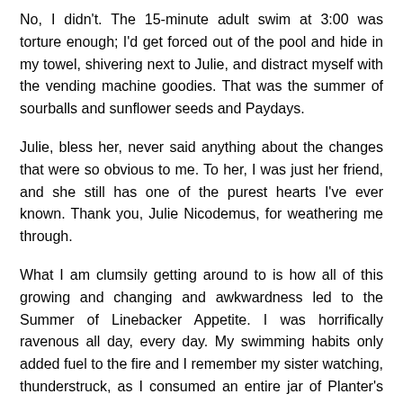No, I didn't. The 15-minute adult swim at 3:00 was torture enough; I'd get forced out of the pool and hide in my towel, shivering next to Julie, and distract myself with the vending machine goodies. That was the summer of sourballs and sunflower seeds and Paydays.
Julie, bless her, never said anything about the changes that were so obvious to me. To her, I was just her friend, and she still has one of the purest hearts I've ever known. Thank you, Julie Nicodemus, for weathering me through.
What I am clumsily getting around to is how all of this growing and changing and awkwardness led to the Summer of Linebacker Appetite. I was horrifically ravenous all day, every day. My swimming habits only added fuel to the fire and I remember my sister watching, thunderstruck, as I consumed an entire jar of Planter's dry roasted peanuts one evening. (note to readers: I do not recommend this practice. My tongue cracked completely open after that salty little escapade.)
That summer, I'd return home from my day at the pool and attack the evening meal like a wolverine. I didn't turn down any meal (except for Chinese food—more on that soon) but if I had to...